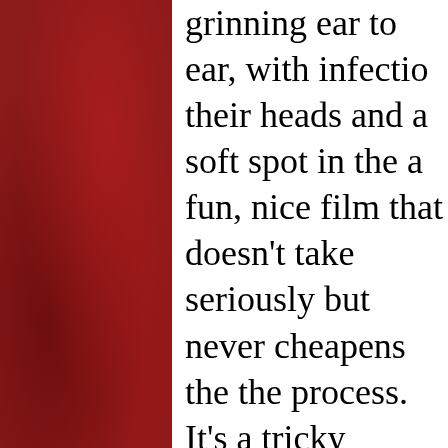grinning ear to ear, with infectio their heads and a soft spot in the a fun, nice film that doesn't take seriously but never cheapens the the process. It's a tricky balancin that the filmmakers pull off with benefiting from the confidence t decade on television can provide viewers watch the show it's base Bob's Burgers Movie is definite